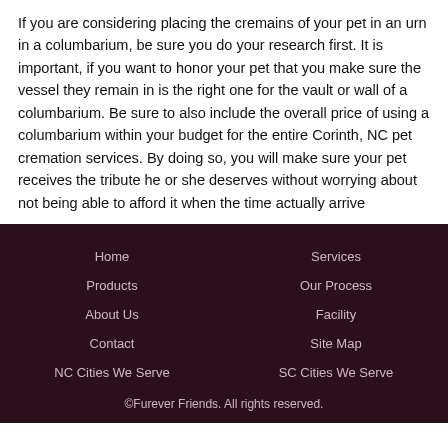If you are considering placing the cremains of your pet in an urn in a columbarium, be sure you do your research first. It is important, if you want to honor your pet that you make sure the vessel they remain in is the right one for the vault or wall of a columbarium. Be sure to also include the overall price of using a columbarium within your budget for the entire Corinth, NC pet cremation services. By doing so, you will make sure your pet receives the tribute he or she deserves without worrying about not being able to afford it when the time actually arrive
Home | Products | About Us | Contact | NC Cities We Serve | Services | Our Process | Facility | Site Map | SC Cities We Serve | ©Furever Friends. All rights reserved.